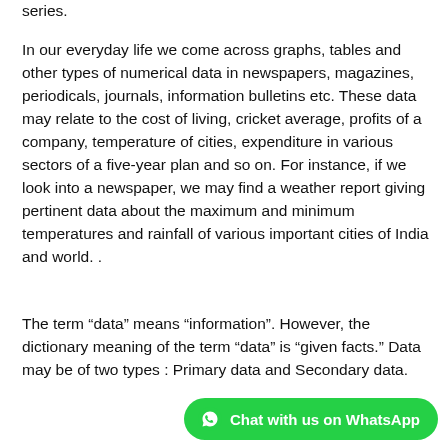series.
In our everyday life we come across graphs, tables and other types of numerical data in newspapers, magazines, periodicals, journals, information bulletins etc. These data may relate to the cost of living, cricket average, profits of a company, temperature of cities, expenditure in various sectors of a five-year plan and so on. For instance, if we look into a newspaper, we may find a weather report giving pertinent data about the maximum and minimum temperatures and rainfall of various important cities of India and world. .
The term “data” means “information”. However, the dictionary meaning of the term “data” is “given facts.” Data may be of two types : Primary data and Secondary data.